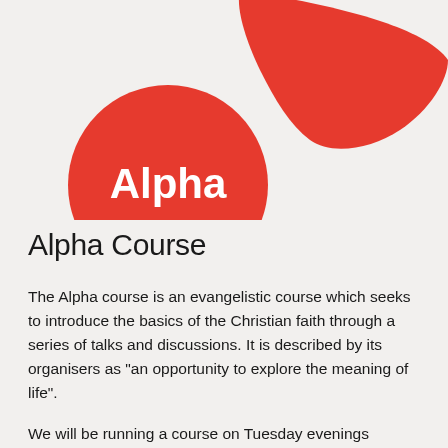[Figure (logo): Alpha course logo: a red circle with white bold text 'Alpha' and a red swoosh/flame shape extending to the upper right]
Alpha Course
The Alpha course is an evangelistic course which seeks to introduce the basics of the Christian faith through a series of talks and discussions. It is described by its organisers as "an opportunity to explore the meaning of life".
We will be running a course on Tuesday evenings